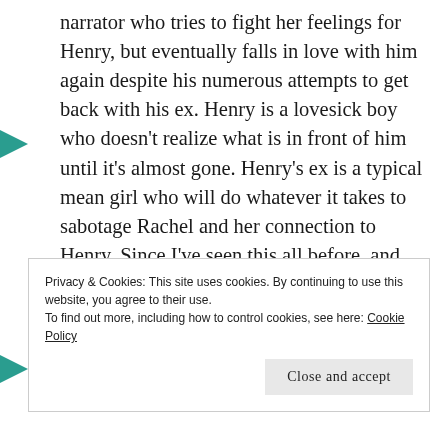narrator who tries to fight her feelings for Henry, but eventually falls in love with him again despite his numerous attempts to get back with his ex. Henry is a lovesick boy who doesn't realize what is in front of him until it's almost gone. Henry's ex is a typical mean girl who will do whatever it takes to sabotage Rachel and her connection to Henry. Since I've seen this all before, and have liked it better in other books, these characters didn't really stick with me after reading.
Privacy & Cookies: This site uses cookies. By continuing to use this website, you agree to their use.
To find out more, including how to control cookies, see here: Cookie Policy
Close and accept